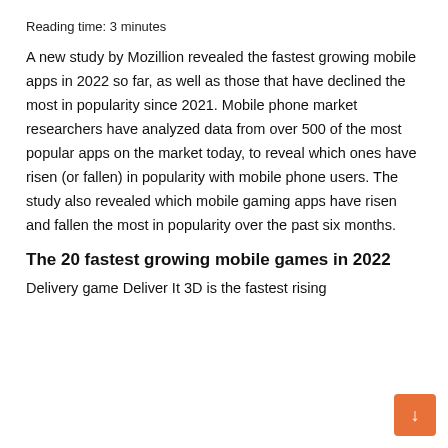Reading time: 3 minutes
A new study by Mozillion revealed the fastest growing mobile apps in 2022 so far, as well as those that have declined the most in popularity since 2021. Mobile phone market researchers have analyzed data from over 500 of the most popular apps on the market today, to reveal which ones have risen (or fallen) in popularity with mobile phone users. The study also revealed which mobile gaming apps have risen and fallen the most in popularity over the past six months.
The 20 fastest growing mobile games in 2022
Delivery game Deliver It 3D is the fastest rising